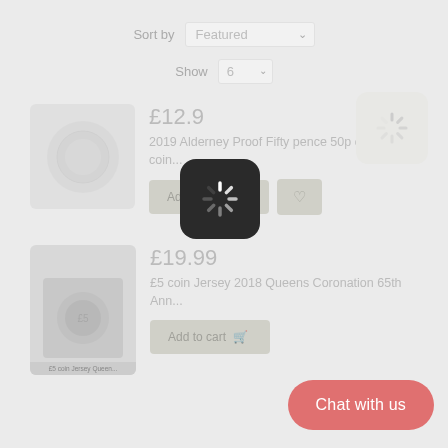Sort by: Featured
Show 6
[Figure (screenshot): Product listing card showing a coin image, price £12.99, product name '2019 Alderney Proof Fifty pence 50p crown coin', Add to cart button, wishlist button, and loading spinner overlays]
[Figure (screenshot): Product listing card showing a coin/book image, price £19.99, product name '£5 coin Jersey 2018 Queens Coronation 65th Ann...', Add to cart button, and a red 'Chat with us' button overlay]